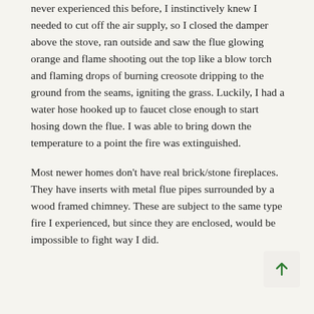never experienced this before, I instinctively knew I needed to cut off the air supply, so I closed the damper above the stove, ran outside and saw the flue glowing orange and flame shooting out the top like a blow torch and flaming drops of burning creosote dripping to the ground from the seams, igniting the grass. Luckily, I had a water hose hooked up to faucet close enough to start hosing down the flue. I was able to bring down the temperature to a point the fire was extinguished.
Most newer homes don't have real brick/stone fireplaces. They have inserts with metal flue pipes surrounded by a wood framed chimney. These are subject to the same type fire I experienced, but since they are enclosed, would be impossible to fight way I did.